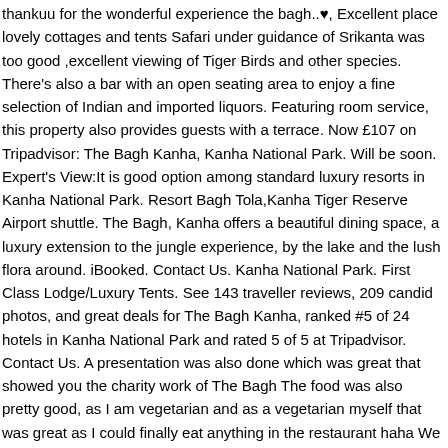thankuu for the wonderful experience the bagh..♥, Excellent place lovely cottages and tents Safari under guidance of Srikanta was too good ,excellent viewing of Tiger Birds and other species. There's also a bar with an open seating area to enjoy a fine selection of Indian and imported liquors. Featuring room service, this property also provides guests with a terrace. Now £107 on Tripadvisor: The Bagh Kanha, Kanha National Park. Will be soon. Expert's View:It is good option among standard luxury resorts in Kanha National Park. Resort Bagh Tola,Kanha Tiger Reserve Airport shuttle. The Bagh, Kanha offers a beautiful dining space, a luxury extension to the jungle experience, by the lake and the lush flora around. iBooked. Contact Us. Kanha National Park. First Class Lodge/Luxury Tents. See 143 traveller reviews, 209 candid photos, and great deals for The Bagh Kanha, ranked #5 of 24 hotels in Kanha National Park and rated 5 of 5 at Tripadvisor. Contact Us. A presentation was also done which was great that showed you the charity work of The Bagh The food was also pretty good, as I am vegetarian and as a vegetarian myself that was great as I could finally eat anything in the restaurant haha We were, lucky enough to see multiple tigers specially Choti Mada was so close to our jeep while on Safari so our stay at The Bagh and Kanha National Park will definitely be memories we cherish Great work with hard working them of Ashwani ji and a special thanks to shfe for the delicious food. The Bagh resort is spread in 20 acres of land offers the hut cast in mud painted in earthy colours and lit up with traditional looks but... You also have nice cabins and housings on offer. Also meant to The